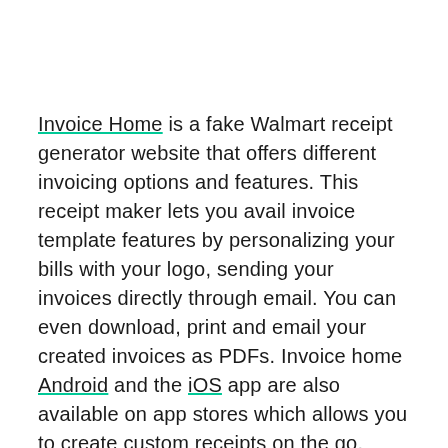Invoice Home is a fake Walmart receipt generator website that offers different invoicing options and features. This receipt maker lets you avail invoice template features by personalizing your bills with your logo, sending your invoices directly through email. You can even download, print and email your created invoices as PDFs. Invoice home Android and the iOS app are also available on app stores which allows you to create custom receipts on the go.